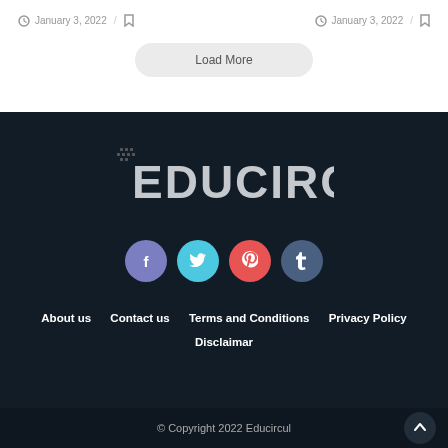January 3, 2022
January 3, 2022
Load More
[Figure (logo): Educircul logo in white/gray text on dark background with pixel dots decoration]
[Figure (infographic): Social media icons row: Facebook (purple), Twitter (cyan), Pinterest (red), Tumblr (dark blue)]
About us   Contact us   Terms and Conditions   Privacy Policy
Disclaimar
© Copyright 2022 Educircul